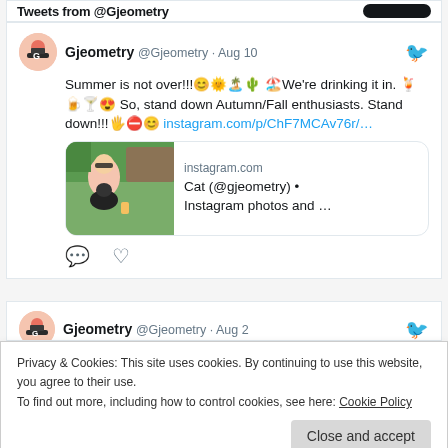Tweets from @Gjeometry
Gjeometry @Gjeometry · Aug 10
Summer is not over!!!😊🌞🏝️🌵 🏖️We're drinking it in. 🍹🍺🍸😍 So, stand down Autumn/Fall enthusiasts. Stand down!!!🖐️⛔😊 instagram.com/p/ChF7MCAv76r/…
[Figure (screenshot): Instagram link preview showing a woman with sunglasses holding a dog outdoors, with instagram.com domain and title 'Cat (@gjeometry) • Instagram photos and …']
Gjeometry @Gjeometry · Aug 2
Privacy & Cookies: This site uses cookies. By continuing to use this website, you agree to their use.
To find out more, including how to control cookies, see here: Cookie Policy
Close and accept
Just posted a photo